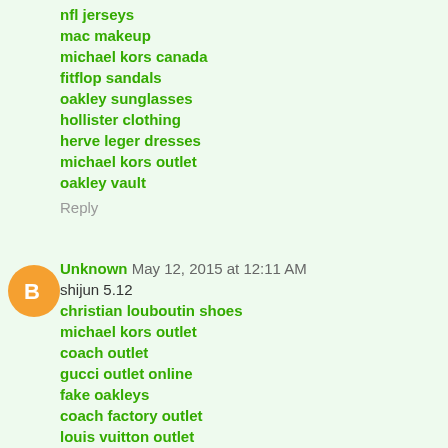nfl jerseys
mac makeup
michael kors canada
fitflop sandals
oakley sunglasses
hollister clothing
herve leger dresses
michael kors outlet
oakley vault
Reply
Unknown  May 12, 2015 at 12:11 AM
shijun 5.12
christian louboutin shoes
michael kors outlet
coach outlet
gucci outlet online
fake oakleys
coach factory outlet
louis vuitton outlet
louis vuitton handbags